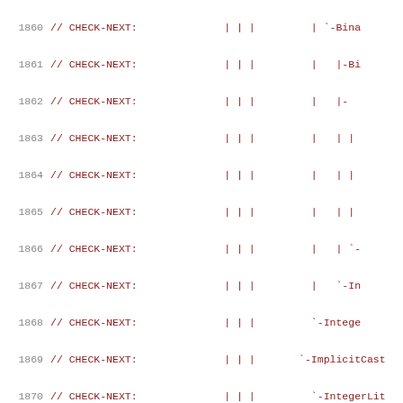Code listing lines 1860-1880 showing CHECK-NEXT comments with AST tree structure including BinaryOperator, DeclRefExpr, AlwaysInlineAttr, ImplicitParamDecl nodes